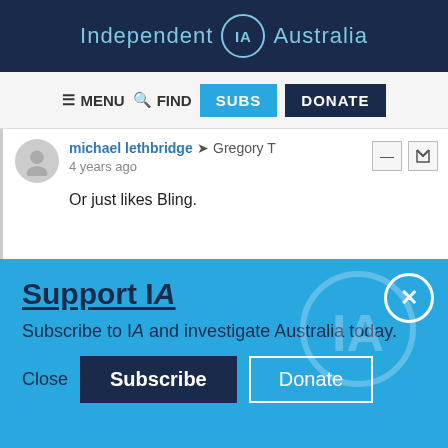Independent IA Australia
MENU  FIND  SUBS  DONATE
michael lethbridge → Gregory T
4 years ago
Or just likes Bling.
Support IA
Subscribe to IA and investigate Australia today.
Close  Subscribe  Donate
Twitter  Facebook  LinkedIn  Flipboard  Link  Plus